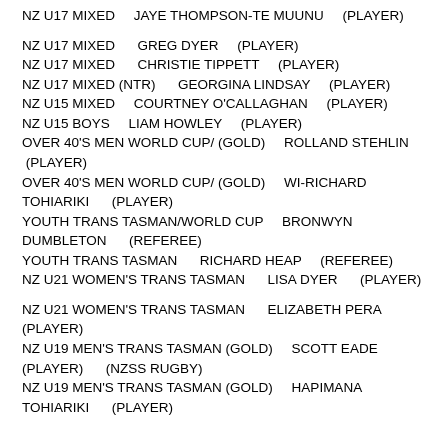NZ U17 MIXED    JAYE THOMPSON-TE MUUNU    (PLAYER)
NZ U17 MIXED    GREG DYER    (PLAYER)
NZ U17 MIXED    CHRISTIE TIPPETT    (PLAYER)
NZ U17 MIXED (NTR)    GEORGINA LINDSAY    (PLAYER)
NZ U15 MIXED    COURTNEY O'CALLAGHAN    (PLAYER)
NZ U15 BOYS    LIAM HOWLEY    (PLAYER)
OVER 40'S MEN WORLD CUP/ (GOLD)    ROLLAND STEHLIN (PLAYER)
OVER 40'S MEN WORLD CUP/ (GOLD)    WI-RICHARD TOHIARIKI    (PLAYER)
YOUTH TRANS TASMAN/WORLD CUP    BRONWYN DUMBLETON    (REFEREE)
YOUTH TRANS TASMAN    RICHARD HEAP    (REFEREE)
NZ U21 WOMEN'S TRANS TASMAN    LISA DYER    (PLAYER)
NZ U21 WOMEN'S TRANS TASMAN    ELIZABETH PERA (PLAYER)
NZ U19 MEN'S TRANS TASMAN (GOLD)    SCOTT EADE (PLAYER)    (NZSS RUGBY)
NZ U19 MEN'S TRANS TASMAN (GOLD)    HAPIMANA TOHIARIKI    (PLAYER)